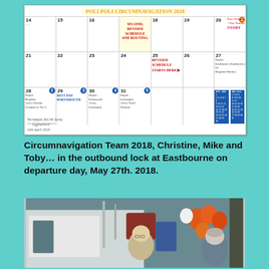[Figure (other): Poli Poli Circumnavigation 2018 calendar page for May showing handwritten schedule annotations, revised routing notes, day numbers in circles, and mini calendars at bottom right. Includes signature dated 10th April 2018.]
Circumnavigation Team 2018, Christine, Mike and Toby… in the outbound lock at Eastbourne on departure day, May 27th. 2018.
[Figure (photo): Photo of two people (Christine and Mike/Toby) on a boat in an outbound lock at Eastbourne, with orange balloons and sailing equipment visible.]